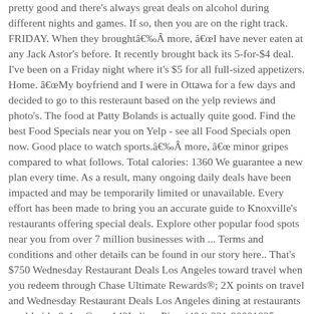pretty good and there's always great deals on alcohol during different nights and games. If so, then you are on the right track. FRIDAY. When they broughtâ€‰Â more, â€œI have never eaten at any Jack Astor's before. It recently brought back its 5-for-$4 deal. I've been on a Friday night where it's $5 for all full-sized appetizers. Home. â€œMy boyfriend and I were in Ottawa for a few days and decided to go to this resteraunt based on the yelp reviews and photo's. The food at Patty Bolands is actually quite good. Find the best Food Specials near you on Yelp - see all Food Specials open now. Good place to watch sports.â€‰Â more, â€œ minor gripes compared to what follows. Total calories: 1360 We guarantee a new plan every time. As a result, many ongoing daily deals have been impacted and may be temporarily limited or unavailable. Every effort has been made to bring you an accurate guide to Knoxville's restaurants offering special deals. Explore other popular food spots near you from over 7 million businesses with ... Terms and conditions and other details can be found in our story here.. That's $750 Wednesday Restaurant Deals Los Angeles toward travel when you redeem through Chase Ultimate Rewards®; 2X points on travel and Wednesday Restaurant Deals Los Angeles dining at restaurants worldwide & 1... Grana142Italian, Pizza(404) 231-90001835 Piedmont Ave NEMorningside / Lenox